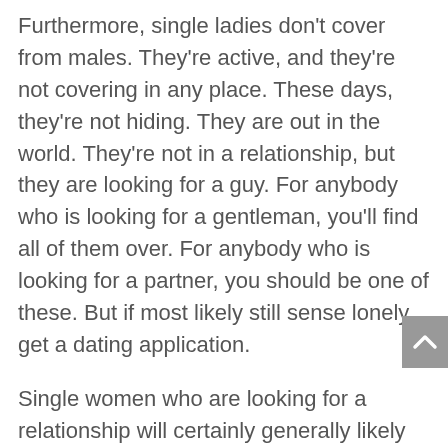Furthermore, single ladies don't cover from males. They're active, and they're not covering in any place. These days, they're not hiding. They are out in the world. They're not in a relationship, but they are looking for a guy. For anybody who is looking for a gentleman, you'll find all of them over. For anybody who is looking for a partner, you should be one of these. But if most likely still sense lonely, get a dating application.
Single women who are looking for a relationship will certainly generally likely be operational to dating people with distinctive traits and backgrounds. They're open to people of different beliefs, races, incomes, and sexuality. As long as they're compatible, they shall be happy and content with their particular relationships. The key to this is going to be a good person. You'll find someone who you'll want to pay your whole your life with. You will be willing to perform what it takes to locate a man who